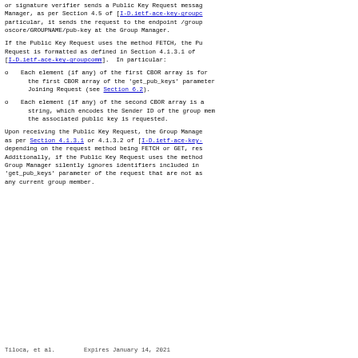or signature verifier sends a Public Key Request message to the Group Manager, as per Section 4.5 of [I-D.ietf-ace-key-groupcomm]. In particular, it sends the request to the endpoint /group-oscore/GROUPNAME/pub-key at the Group Manager.
If the Public Key Request uses the method FETCH, the Public Key Request is formatted as defined in Section 4.1.3.1 of [I-D.ietf-ace-key-groupcomm].  In particular:
Each element (if any) of the first CBOR array is formatted as the first CBOR array of the 'get_pub_keys' parameter of the Joining Request (see Section 6.2).
Each element (if any) of the second CBOR array is a byte string, which encodes the Sender ID of the group member whose the associated public key is requested.
Upon receiving the Public Key Request, the Group Manager acts as per Section 4.1.3.1 or 4.1.3.2 of [I-D.ietf-ace-key-groupcomm], depending on the request method being FETCH or GET, respectively. Additionally, if the Public Key Request uses the method FETCH, the Group Manager silently ignores identifiers included in the 'get_pub_keys' parameter of the request that are not associated to any current group member.
Tiloca, et al.          Expires January 14, 2021